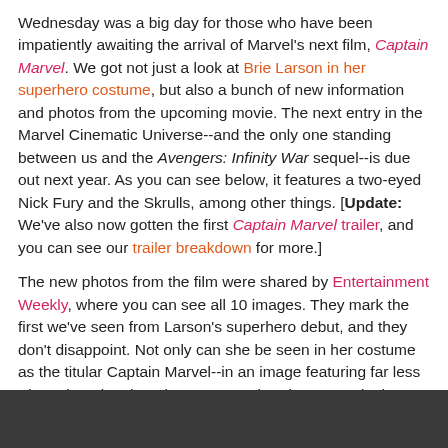Wednesday was a big day for those who have been impatiently awaiting the arrival of Marvel's next film, Captain Marvel. We got not just a look at Brie Larson in her superhero costume, but also a bunch of new information and photos from the upcoming movie. The next entry in the Marvel Cinematic Universe--and the only one standing between us and the Avengers: Infinity War sequel--is due out next year. As you can see below, it features a two-eyed Nick Fury and the Skrulls, among other things. [Update: We've also now gotten the first Captain Marvel trailer, and you can see our trailer breakdown for more.]
The new photos from the film were shared by Entertainment Weekly, where you can see all 10 images. They mark the first we've seen from Larson's superhero debut, and they don't disappoint. Not only can she be seen in her costume as the titular Captain Marvel--in an image featuring far less Photoshopping than the cover version--but several other details are given away.
[Figure (other): Dark gray/charcoal bar at the bottom of the page]